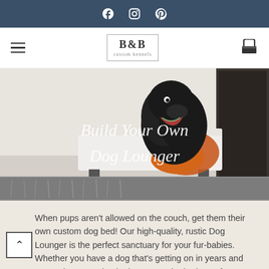Social media icons: Facebook, Instagram, Pinterest
[Figure (logo): B&B Custom Kennels logo in a rectangular border with brand name below]
[Figure (photo): Black curly-haired dog sitting on a white modern dog lounger/bed with an orange blanket, in a living room setting. Overlaid script text reads 'Build Your Own Dog Lounger']
When pups aren't allowed on the couch, get them their own custom dog bed! Our high-quality, rustic Dog Lounger is the perfect sanctuary for your fur-babies. Whether you have a dog that's getting on in years and can no longer make the jump onto the bed or sofa, or you simply wish to give your pup a